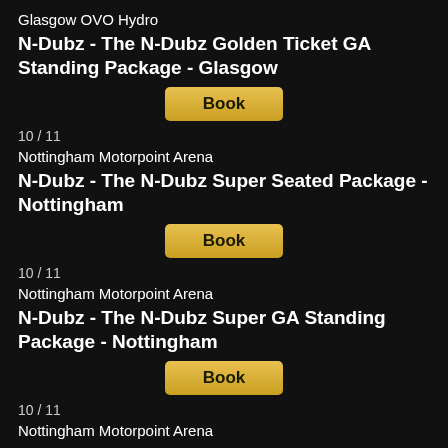Glasgow OVO Hydro
N-Dubz - The N-Dubz Golden Ticket GA Standing Package - Glasgow
Book
10 / 11
Nottingham Motorpoint Arena
N-Dubz - The N-Dubz Super Seated Package - Nottingham
Book
10 / 11
Nottingham Motorpoint Arena
N-Dubz - The N-Dubz Super GA Standing Package - Nottingham
Book
10 / 11
Nottingham Motorpoint Arena
N-Dubz - The N-Dubz Golden Ticket Seated Package - Nottingham